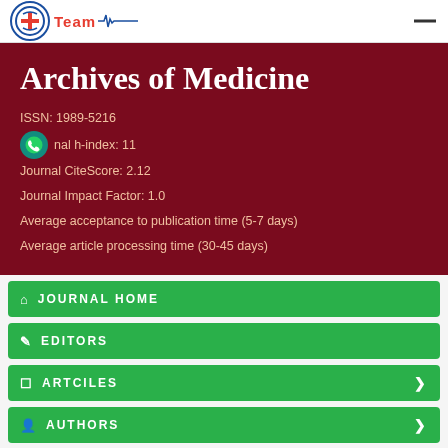Team
Archives of Medicine
ISSN: 1989-5216
Journal h-index: 11
Journal CiteScore: 2.12
Journal Impact Factor: 1.0
Average acceptance to publication time (5-7 days)
Average article processing time (30-45 days)
JOURNAL HOME
EDITORS
ARTCILES
AUTHORS
IN DETAIL